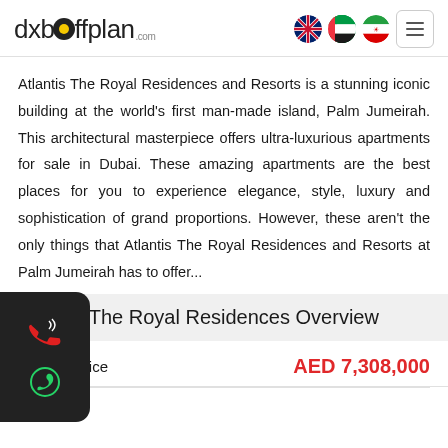dxboffplan.com
Atlantis The Royal Residences and Resorts is a stunning iconic building at the world's first man-made island, Palm Jumeirah. This architectural masterpiece offers ultra-luxurious apartments for sale in Dubai. These amazing apartments are the best places for you to experience elegance, style, luxury and sophistication of grand proportions. However, these aren't the only things that Atlantis The Royal Residences and Resorts at Palm Jumeirah has to offer...
Atlantis The Royal Residences Overview
Starting Price
AED 7,308,000